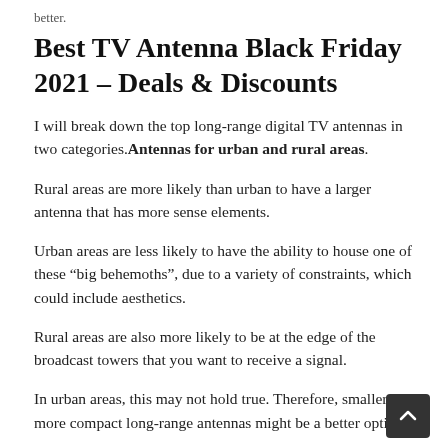better.
Best TV Antenna Black Friday 2021 – Deals & Discounts
I will break down the top long-range digital TV antennas in two categories. Antennas for urban and rural areas.
Rural areas are more likely than urban to have a larger antenna that has more sense elements.
Urban areas are less likely to have the ability to house one of these “big behemoths”, due to a variety of constraints, which could include aesthetics.
Rural areas are also more likely to be at the edge of the broadcast towers that you want to receive a signal.
In urban areas, this may not hold true. Therefore, smaller, more compact long-range antennas might be a better option.